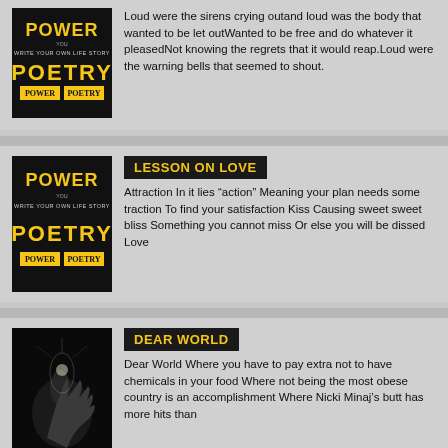[Figure (illustration): Power of Poetry book cover - dark background with stylized text]
Loud were the sirens crying outand loud was the body that wanted to be let outWanted to be free and do whatever it pleasedNot knowing the regrets that it would reap.Loud were the warning bells that seemed to shout.
[Figure (illustration): Power of Poetry book cover - dark background with stylized text]
LESSON ON LOVE
Attraction In it lies “action” Meaning your plan needs some traction To find your satisfaction Kiss Causing sweet sweet bliss Something you cannot miss Or else you will be dissed Love
[Figure (photo): Dark photo showing a hand holding something with light/smoke effect]
DEAR WORLD
Dear World Where you have to pay extra not to have chemicals in your food Where not being the most obese country is an accomplishment Where Nicki Minaj’s butt has more hits than